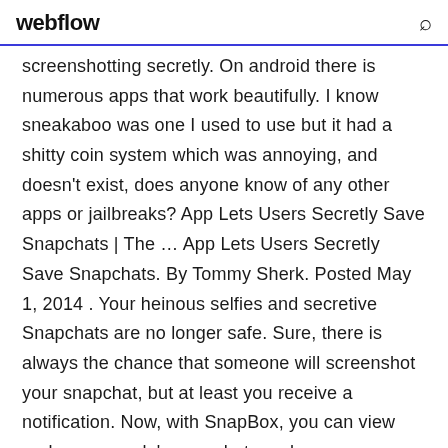webflow
screenshotting secretly. On android there is numerous apps that work beautifully. I know sneakaboo was one I used to use but it had a shitty coin system which was annoying, and doesn't exist, does anyone know of any other apps or jailbreaks? App Lets Users Secretly Save Snapchats | The … App Lets Users Secretly Save Snapchats. By Tommy Sherk. Posted May 1, 2014 . Your heinous selfies and secretive Snapchats are no longer safe. Sure, there is always the chance that someone will screenshot your snapchat, but at least you receive a notification. Now, with SnapBox, you can view and save people's snapchats and